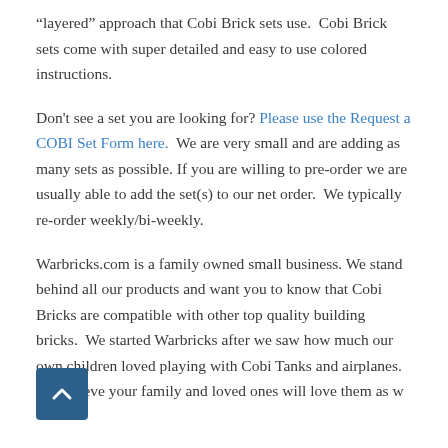“layered” approach that Cobi Brick sets use.  Cobi Brick sets come with super detailed and easy to use colored instructions.
Don't see a set you are looking for? Please use the Request a COBI Set Form here.  We are very small and are adding as many sets as possible. If you are willing to pre-order we are usually able to add the set(s) to our net order.  We typically re-order weekly/bi-weekly.
Warbricks.com is a family owned small business. We stand behind all our products and want you to know that Cobi Bricks are compatible with other top quality building bricks.  We started Warbricks after we saw how much our own children loved playing with Cobi Tanks and airplanes.  We believe your family and loved ones will love them as w...